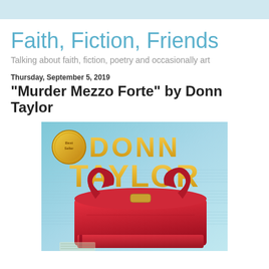Faith, Fiction, Friends
Talking about faith, fiction, poetry and occasionally art
Thursday, September 5, 2019
"Murder Mezzo Forte" by Donn Taylor
[Figure (photo): Book cover for 'Murder Mezzo Forte' by Donn Taylor. Shows a red leather purse/bag on sheet music with 'DONN TAYLOR' in large gold letters on a blue background. There is a gold medallion/award seal in the upper left.]